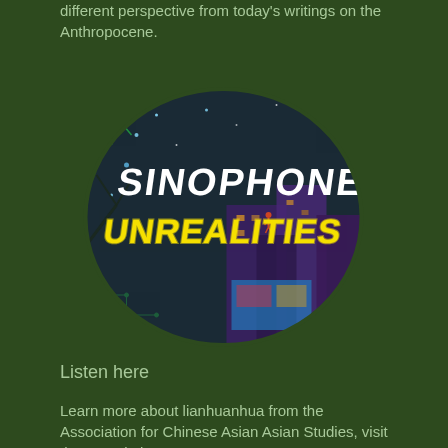different perspective from today's writings on the Anthropocene.
[Figure (illustration): Stylized cover art for 'Sinophone Unrealities' podcast/anthology showing neon text over a dark fantasy cityscape with green glowing plants and purple urban architecture. The text 'SINOPHONE' appears in white bold letters and 'UNREALITIES' in yellow neon style letters, set within an oval frame.]
Listen here
Learn more about lianhuanhua from the Association for Chinese Asian Asian Studies, visit the association